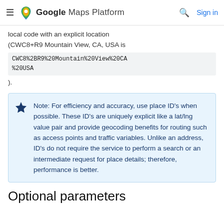Google Maps Platform — Sign in
local code with an explicit location (CWC8+R9 Mountain View, CA, USA is CWC8%2BR9%20Mountain%20View%20CA%20USA).
Note: For efficiency and accuracy, use place ID's when possible. These ID's are uniquely explicit like a lat/lng value pair and provide geocoding benefits for routing such as access points and traffic variables. Unlike an address, ID's do not require the service to perform a search or an intermediate request for place details; therefore, performance is better.
Optional parameters